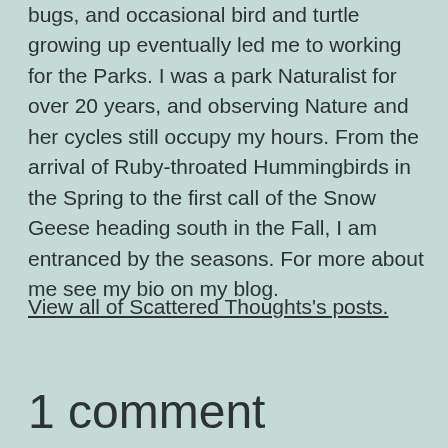bugs, and occasional bird and turtle growing up eventually led me to working for the Parks. I was a park Naturalist for over 20 years, and observing Nature and her cycles still occupy my hours. From the arrival of Ruby-throated Hummingbirds in the Spring to the first call of the Snow Geese heading south in the Fall, I am entranced by the seasons. For more about me see my bio on my blog.
View all of Scattered Thoughts's posts.
1 comment